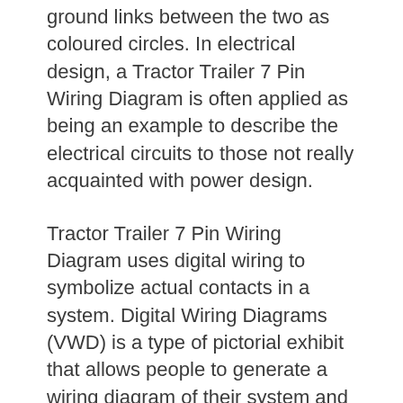ground links between the two as coloured circles. In electrical design, a Tractor Trailer 7 Pin Wiring Diagram is often applied as being an example to describe the electrical circuits to those not really acquainted with power design.
Tractor Trailer 7 Pin Wiring Diagram uses digital wiring to symbolize actual contacts in a system. Digital Wiring Diagrams (VWD) is a type of pictorial exhibit that allows people to generate a wiring diagram of their system and never have to create bodily types or sketches. It is then simpler to picture the wiring diagrams on paper or any other surface as there are no bodily connections involving the factors of a VWD. For this reason, diagrams made employing